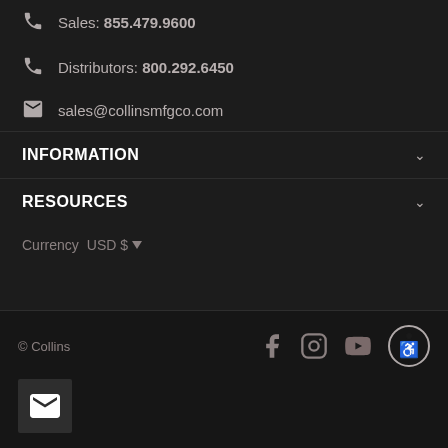Sales: 855.479.9600
Distributors: 800.292.6450
sales@collinsmfgco.com
INFORMATION
RESOURCES
Currency  USD $
© Collins
[Figure (other): Email newsletter signup button (envelope icon in dark square)]
[Figure (other): Social media icons: Facebook, Instagram, YouTube, and accessibility icon]